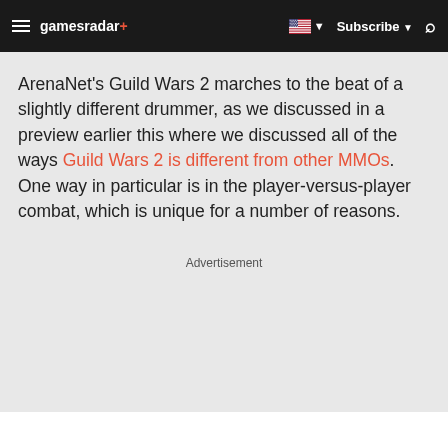gamesradar+ | Subscribe | Search
ArenaNet's Guild Wars 2 marches to the beat of a slightly different drummer, as we discussed in a preview earlier this where we discussed all of the ways Guild Wars 2 is different from other MMOs. One way in particular is in the player-versus-player combat, which is unique for a number of reasons.
Advertisement